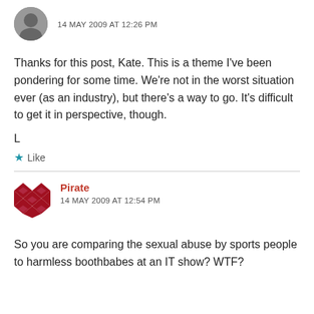[Figure (photo): User avatar - circular photo of a person]
14 MAY 2009 AT 12:26 PM
Thanks for this post, Kate. This is a theme I've been pondering for some time. We're not in the worst situation ever (as an industry), but there's a way to go. It's difficult to get it in perspective, though.
L
★ Like
[Figure (logo): Pirate avatar - diamond/checker pattern in dark red]
Pirate
14 MAY 2009 AT 12:54 PM
So you are comparing the sexual abuse by sports people to harmless boothbabes at an IT show? WTF?